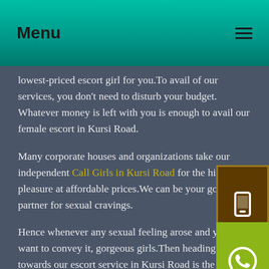Menu
lowest-priced escort girl for you.To avail of our services, you don't need to disturb your budget. Whatever money is left with you is enough to avail our female escort in Kursi Road.
Many corporate houses and organizations take our independent Call Girls in Kursi Road for the highest pleasure at affordable prices.We can be your go-to partner for sexual cravings.
Hence whenever any sexual feeling arose and you want to convey it, gorgeous girls.Then heading towards our escort service in Kursi Road is the best matter whether it's late-night or early morning, our escort girls will keep offering you the highest pleasure.
Now you don't need to suffer anymore with your